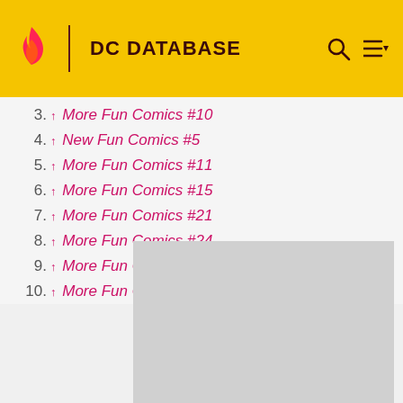DC DATABASE
3. ↑ More Fun Comics #10
4. ↑ New Fun Comics #5
5. ↑ More Fun Comics #11
6. ↑ More Fun Comics #15
7. ↑ More Fun Comics #21
8. ↑ More Fun Comics #24
9. ↑ More Fun Comics #26
10. ↑ More Fun Comics #29
[Figure (other): Advertisement placeholder (gray rectangle)]